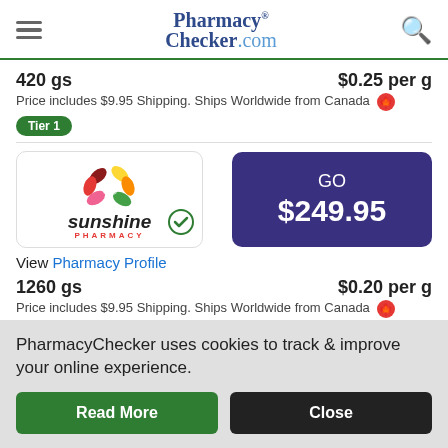PharmacyChecker.com
420 gs   $0.25 per g
Price includes $9.95 Shipping. Ships Worldwide from Canada
Tier 1
[Figure (logo): Sunshine Pharmacy logo with flower/petals graphic]
GO $249.95
View Pharmacy Profile
1260 gs   $0.20 per g
Price includes $9.95 Shipping. Ships Worldwide from Canada
Tier 1
PharmacyChecker uses cookies to track & improve your online experience.
Read More
Close